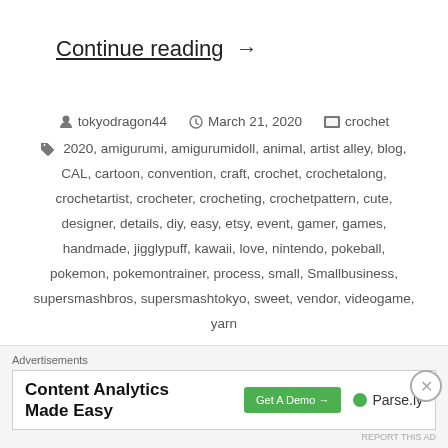Continue reading →
tokyodragon44   March 21, 2020   crochet
2020, amigurumi, amigurumidoll, animal, artist alley, blog, CAL, cartoon, convention, craft, crochet, crochetalong, crochetartist, crocheter, crocheting, crochetpattern, cute, designer, details, diy, easy, etsy, event, gamer, games, handmade, jigglypuff, kawaii, love, nintendo, pokeball, pokemon, pokemontrainer, process, small, Smallbusiness, supersmashbros, supersmashtokyo, sweet, vendor, videogame, yarn
Leave a comment
Advertisements
[Figure (screenshot): Advertisement banner: 'Content Analytics Made Easy' with 'Get A Demo →' green button and Parse.ly logo]